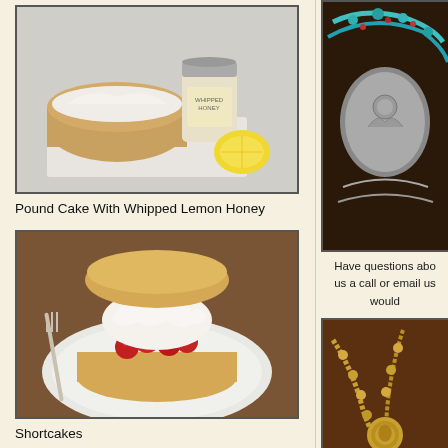[Figure (photo): Photo of a pound cake with white frosting next to a jar of whipped lemon honey and a halved lemon]
Pound Cake With Whipped Lemon Honey
[Figure (photo): Photo of a shortcake with whipped cream and fresh raspberries on a white plate with a fork]
Shortcakes
[Figure (photo): Photo of turquoise and silver jewelry pieces on a dark background]
Have questions abo... us a call or email us... would
[Figure (photo): Photo of gold and brass jewelry including a beaded necklace with a medallion pendant]